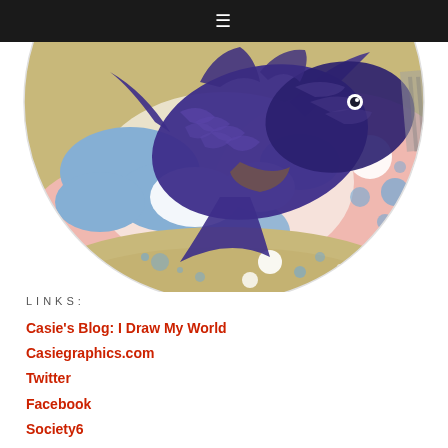≡
[Figure (illustration): Circular artwork showing a decorative koi fish in deep purple/blue with detailed scale patterns, swimming against a background of blue cloud-like shapes, pink and white bubbles, and a tan/gold lower border. The composition is cropped to show the lower portion of the circular painting.]
LINKS:
Casie's Blog: I Draw My World
Casiegraphics.com
Twitter
Facebook
Society6
Pinterest